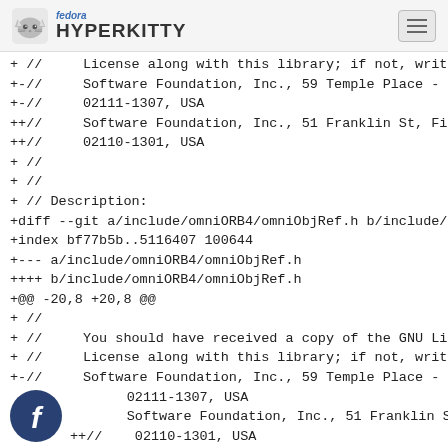fedora HYPERKITTY
+ //      License along with this library; if not, write
+-//      Software Foundation, Inc., 59 Temple Place - S
+-//      02111-1307, USA
++//      Software Foundation, Inc., 51 Franklin St, Fif
++//      02110-1301, USA
+ //
+ //
+ // Description:
+diff --git a/include/omniORB4/omniObjRef.h b/include/
+index bf77b5b..5116407 100644
+--- a/include/omniORB4/omniObjRef.h
++++ b/include/omniORB4/omniObjRef.h
+@@ -20,8 +20,8 @@
+ //
+ //      You should have received a copy of the GNU Lib
+ //      License along with this library; if not, write
+-//      Software Foundation, Inc., 59 Temple Place - S
+        02111-1307, USA
+        Software Foundation, Inc., 51 Franklin St, Fif
+++//    02110-1301, USA